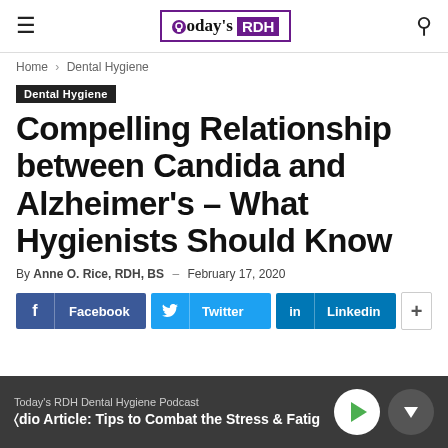Today's RDH
Home › Dental Hygiene
Dental Hygiene
Compelling Relationship between Candida and Alzheimer's – What Hygienists Should Know
By Anne O. Rice, RDH, BS – February 17, 2020
Facebook  Twitter  Linkedin  +
Today's RDH Dental Hygiene Podcast  Audio Article: Tips to Combat the Stress & Fatig